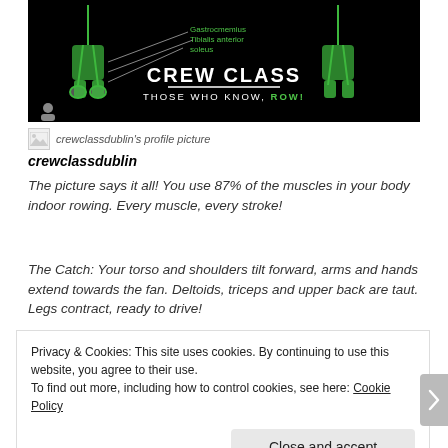[Figure (illustration): Black background image showing green anatomical leg figures with muscle labels (Gastrocnemius, Tibialis anterior, soleus) and 'CREW CLASS - THOSE WHO KNOW, ROW!' branding text at the bottom.]
crewclassdublin's profile picture
crewclassdublin
The picture says it all! You use 87% of the muscles in your body indoor rowing. Every muscle, every stroke!
The Catch: Your torso and shoulders tilt forward, arms and hands extend towards the fan. Deltoids, triceps and upper back are taut. Legs contract, ready to drive!
Privacy & Cookies: This site uses cookies. By continuing to use this website, you agree to their use.
To find out more, including how to control cookies, see here: Cookie Policy